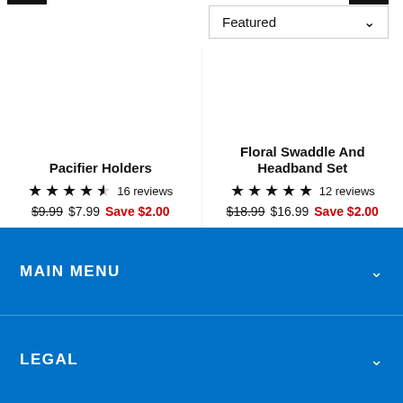Featured
Pacifier Holders
★★★★☆ 16 reviews
$9.99 $7.99 Save $2.00
Floral Swaddle And Headband Set
★★★★★ 12 reviews
$18.99 $16.99 Save $2.00
MAIN MENU
LEGAL